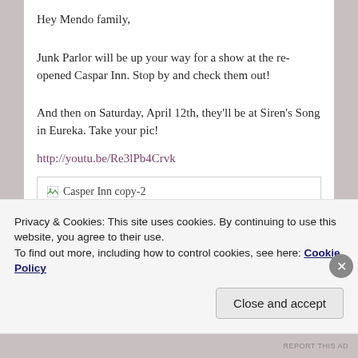Hey Mendo family,
Junk Parlor will be up your way for a show at the re-opened Caspar Inn. Stop by and check them out!
And then on Saturday, April 12th, they'll be at Siren's Song in Eureka. Take your pic!
http://youtu.be/Re3lPb4Crvk
[Figure (photo): Image placeholder labeled 'Casper Inn copy-2']
Privacy & Cookies: This site uses cookies. By continuing to use this website, you agree to their use.
To find out more, including how to control cookies, see here: Cookie Policy
Close and accept
REPORT THIS AD